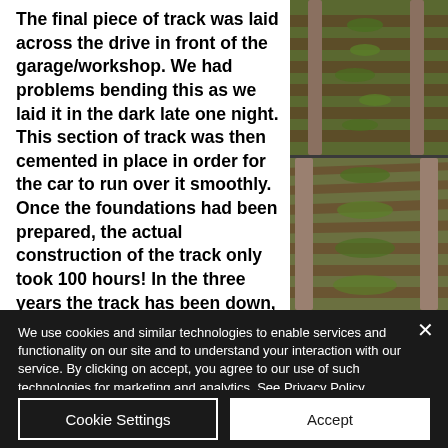The final piece of track was laid across the drive in front of the garage/workshop. We had problems bending this as we laid it in the dark late one night. This section of track was then cemented in place in order for the car to run over it smoothly. Once the foundations had been prepared, the actual construction of the track only took 100 hours! In the three years the track has been down, it has neither moved, distorted or sunk, and running is
[Figure (photo): Photograph of railway tracks with vegetation growing between them, shown from above/side angle. Rusty brown rails on wooden sleepers with green weeds.]
We use cookies and similar technologies to enable services and functionality on our site and to understand your interaction with our service. By clicking on accept, you agree to our use of such technologies for marketing and analytics. See Privacy Policy